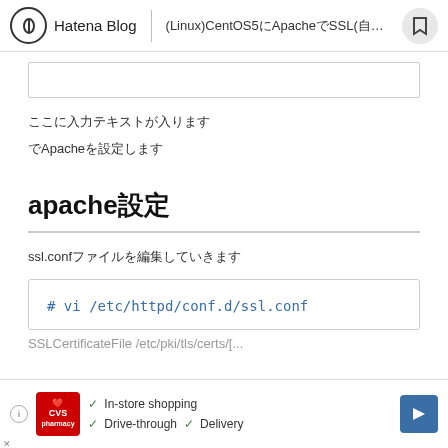Hatena Blog | (Linux)CentOS5にApacheでSSL(自己署名証明書...
ここに入力テキストが入ります
でApacheを設定します
apache設定
ssl.confファイルを編集していきます
# vi /etc/httpd/conf.d/ssl.conf